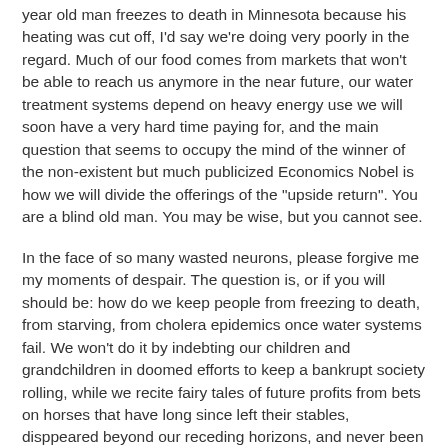year old man freezes to death in Minnesota because his heating was cut off, I'd say we're doing very poorly in the regard. Much of our food comes from markets that won't be able to reach us anymore in the near future, our water treatment systems depend on heavy energy use we will soon have a very hard time paying for, and the main question that seems to occupy the mind of the winner of the non-existent but much publicized Economics Nobel is how we will divide the offerings of the "upside return". You are a blind old man. You may be wise, but you cannot see.
In the face of so many wasted neurons, please forgive me my moments of despair. The question is, or if you will should be: how do we keep people from freezing to death, from starving, from cholera epidemics once water systems fail. We won't do it by indebting our children and grandchildren in doomed efforts to keep a bankrupt society rolling, while we recite fairy tales of future profits from bets on horses that have long since left their stables, disppeared beyond our receding horizons, and never been heard from since. We will only maximize the suffering this way.